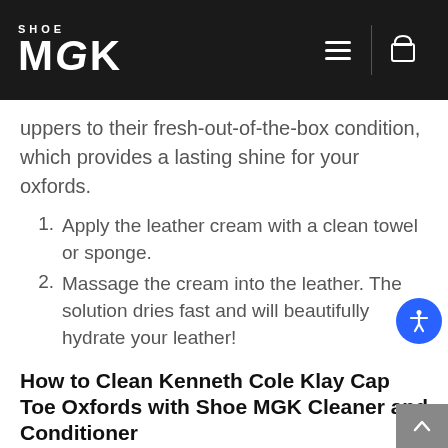SHOE MGK
uppers to their fresh-out-of-the-box condition, which provides a lasting shine for your oxfords.
1. Apply the leather cream with a clean towel or sponge.
2. Massage the cream into the leather. The solution dries fast and will beautifully hydrate your leather!
How to Clean Kenneth Cole Klay Cap Toe Oxfords with Shoe MGK Cleaner and Conditioner
Before your shoes can light up the strip and shine, they need to be clean. It doesn't do you or your luck any good to be walking through all the